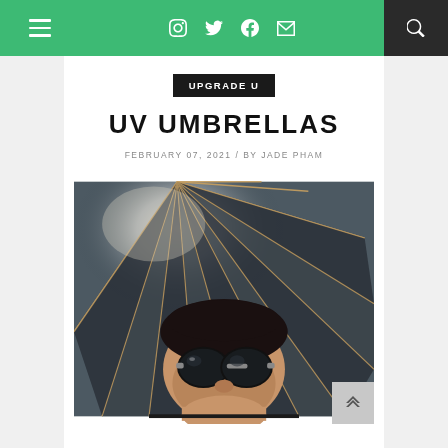Navigation bar with hamburger menu, social icons (Instagram, Twitter, Facebook, Mail), and search button
UPGRADE U
UV UMBRELLAS
FEBRUARY 07, 2021 / BY JADE PHAM
[Figure (photo): A person wearing large round black sunglasses looking up at a dark UV umbrella from below, with the umbrella ribs radiating outward. The background shows a bright sky.]